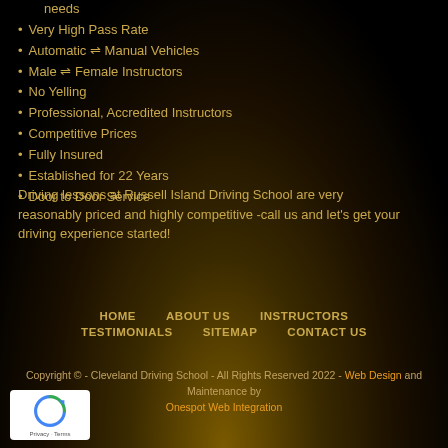needs
Very High Pass Rate
Automatic ⇌ Manual Vehicles
Male ⇌ Female Instructors
No Yelling
Professional, Accredited Instructors
Competitive Prices
Fully Insured
Established for 22 Years
Door to Door Service
Driving lessons at Russell Island Driving School are very reasonably priced and highly competitive -call us and let's get your driving experience started!
HOME   ABOUT US   INSTRUCTORS   TESTIMONIALS   SITEMAP   CONTACT US
Copyright © - Cleveland Driving School - All Rights Reserved 2022 - Web Design and Maintenance by Onespot Web Integration